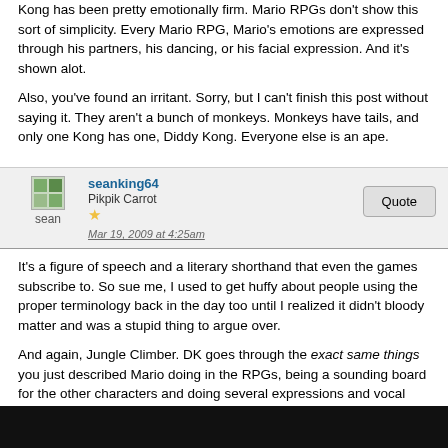Kong has been pretty emotionally firm. Mario RPGs don't show this sort of simplicity. Every Mario RPG, Mario's emotions are expressed through his partners, his dancing, or his facial expression. And it's shown alot.
Also, you've found an irritant. Sorry, but I can't finish this post without saying it. They aren't a bunch of monkeys. Monkeys have tails, and only one Kong has one, Diddy Kong. Everyone else is an ape.
seanking64 | Pikpik Carrot | Mar 19, 2009 at 4:25am
It's a figure of speech and a literary shorthand that even the games subscribe to. So sue me, I used to get huffy about people using the proper terminology back in the day too until I realized it didn't bloody matter and was a stupid thing to argue over.
And again, Jungle Climber. DK goes through the exact same things you just described Mario doing in the RPGs, being a sounding board for the other characters and doing several expressions and vocal clips as the game goes on. He is identical to Mario in this regard, the only difference being that Mario's had infinitely more games to do it in. Heck, beautiful example in JC has him even doing a little bit of character development, for lack of a better term: as the boss fight cutscenes go on, DK starts out being